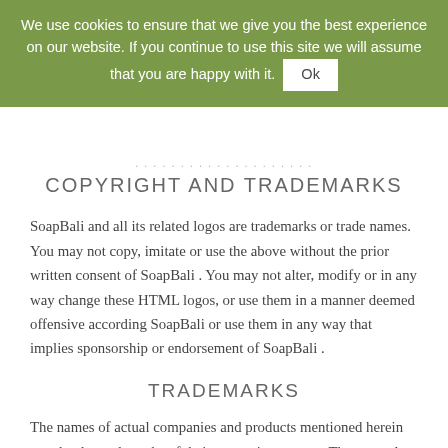We use cookies to ensure that we give you the best experience on our website. If you continue to use this site we will assume that you are happy with it. Ok
COPYRIGHT AND TRADEMARKS
SoapBali and all its related logos are trademarks or trade names. You may not copy, imitate or use the above without the prior written consent of SoapBali . You may not alter, modify or in any way change these HTML logos, or use them in a manner deemed offensive according SoapBali or use them in any way that implies sponsorship or endorsement of SoapBali .
TRADEMARKS
The names of actual companies and products mentioned herein may be the trademarks of their respective owners. The example companies, organizations, products, people and events depicted herein are fictitious. No association with any real company, organization, product, person, or event is